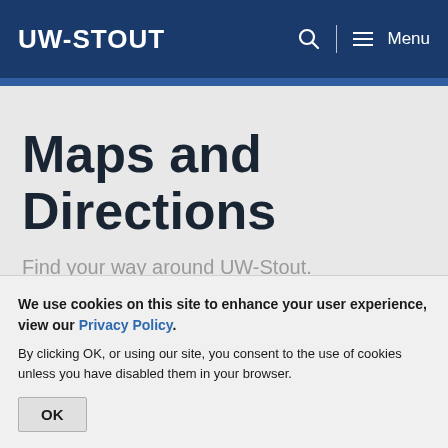UW-STOUT  Menu
Maps and Directions
Find your way around UW-Stout.
We use cookies on this site to enhance your user experience, view our Privacy Policy.
By clicking OK, or using our site, you consent to the use of cookies unless you have disabled them in your browser.
OK